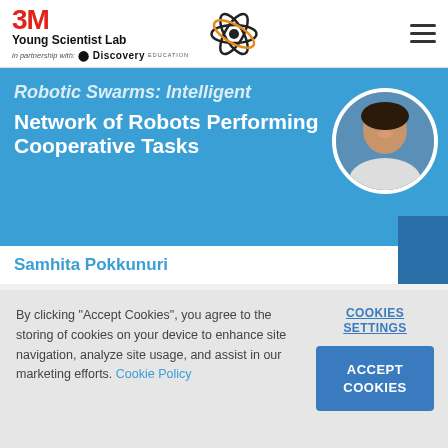[Figure (logo): 3M Young Scientist Lab logo with atom icon and Discovery Education partnership]
Robotic Swarms: Intelligent Network of Robots Performing Cooperative Tasks
Samhita Pokkunuri
By clicking "Accept Cookies", you agree to the storing of cookies on your device to enhance site navigation, analyze site usage, and assist in our marketing efforts. Cookie Policy
COOKIES SETTINGS
ACCEPT COOKIES